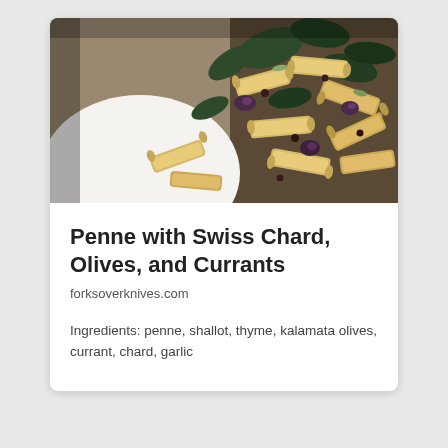[Figure (photo): Close-up photo of penne pasta dish with Swiss chard, kalamata olives, and currants on a white plate]
Penne with Swiss Chard, Olives, and Currants
forksoverknives.com
Ingredients: penne, shallot, thyme, kalamata olives, currant, chard, garlic